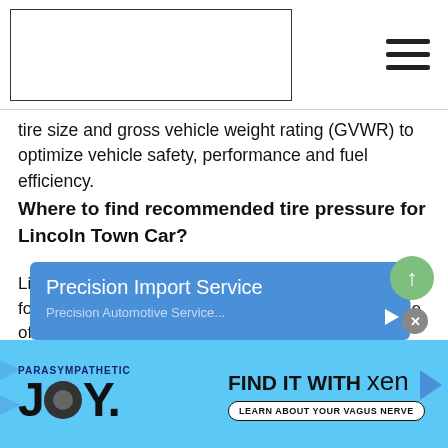[Site logo / navigation header with hamburger menu]
tire size and gross vehicle weight rating (GVWR) to optimize vehicle safety, performance and fuel efficiency.
Where to find recommended tire pressure for Lincoln Town Car?
Lincoln Town Car recommended tire pressure can be found in owner's manual, on a tire placard on the side of driver's door or door jam, on the trunk lid, in the console or on the fuel door. Tire inflation will be listed in psi (pounds per square inch), bar or kPa (kilopascals).
[Figure (screenshot): Blue advertisement banner for Precision Import Service with an ad icon in the top right, and a partially visible subtitle below.]
[Figure (screenshot): Bottom advertisement banner with light blue background promoting 'Parasympathetic Joy - Find it with Xen - Learn about your vagus nerve'. Includes a large JOY. text with camera icon replacing the O, and a 'Learn about your vagus nerve' button.]